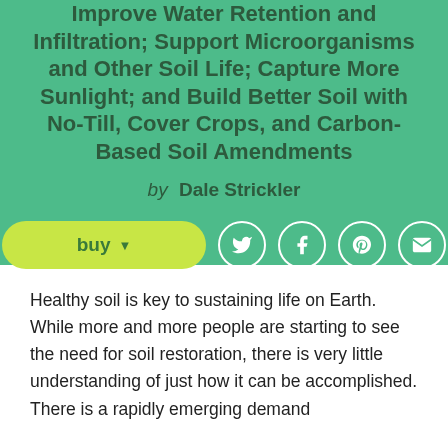Improve Water Retention and Infiltration; Support Microorganisms and Other Soil Life; Capture More Sunlight; and Build Better Soil with No-Till, Cover Crops, and Carbon-Based Soil Amendments
by Dale Strickler
[Figure (other): A yellow-green buy button with dropdown arrow, and four white circle social share icons (Twitter, Facebook, Pinterest, Email) on a green background]
Healthy soil is key to sustaining life on Earth. While more and more people are starting to see the need for soil restoration, there is very little understanding of just how it can be accomplished. There is a rapidly emerging demand